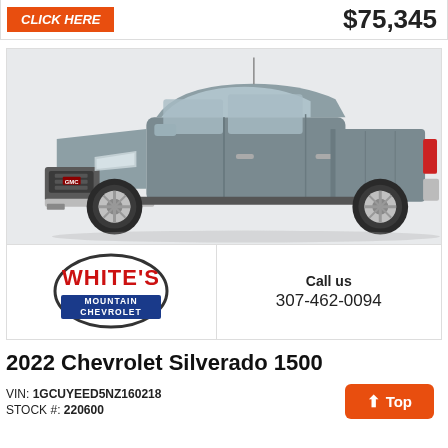CLICK HERE
$75,345
[Figure (photo): Gray GMC Sierra pickup truck, front three-quarter view on white background]
[Figure (logo): White's Mountain Chevrolet dealer logo — circular border with red WHITES text and blue MOUNTAIN CHEVROLET banner]
Call us
307-462-0094
2022 Chevrolet Silverado 1500
VIN: 1GCUYEED5NZ160218
STOCK #: 220600
Top